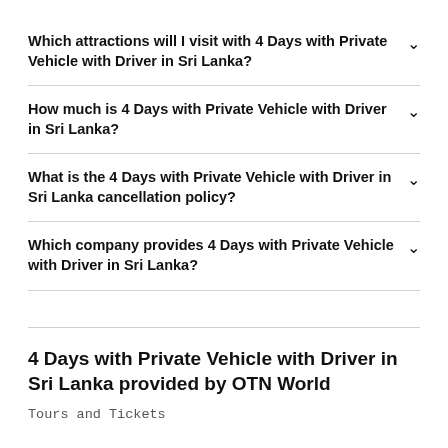Which attractions will I visit with 4 Days with Private Vehicle with Driver in Sri Lanka?
How much is 4 Days with Private Vehicle with Driver in Sri Lanka?
What is the 4 Days with Private Vehicle with Driver in Sri Lanka cancellation policy?
Which company provides 4 Days with Private Vehicle with Driver in Sri Lanka?
4 Days with Private Vehicle with Driver in Sri Lanka provided by OTN World
Tours and Tickets